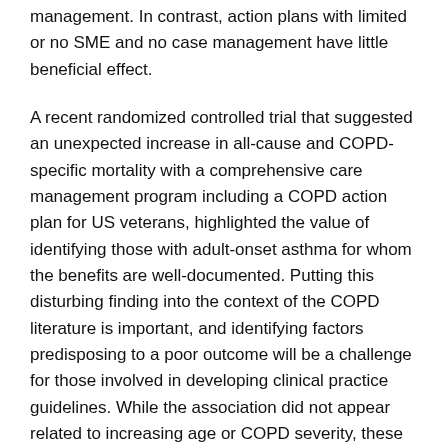management. In contrast, action plans with limited or no SME and no case management have little beneficial effect.
A recent randomized controlled trial that suggested an unexpected increase in all-cause and COPD-specific mortality with a comprehensive care management program including a COPD action plan for US veterans, highlighted the value of identifying those with adult-onset asthma for whom the benefits are well-documented. Putting this disturbing finding into the context of the COPD literature is important, and identifying factors predisposing to a poor outcome will be a challenge for those involved in developing clinical practice guidelines. While the association did not appear related to increasing age or COPD severity, these findings suggest that self-management programs may not be appropriate for all patients with COPD.
Signs You Actually Have Severe